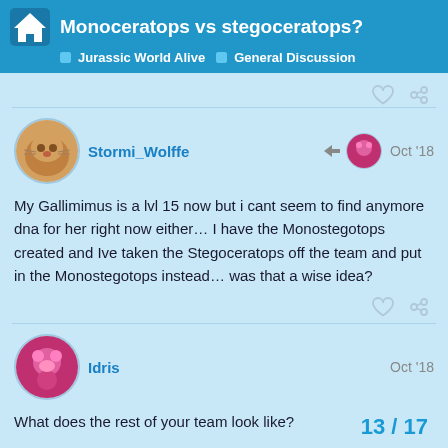Monoceratops vs stegoceratops? | Jurassic World Alive | General Discussion
Stormi_Wolffe — Oct '18
My Gallimimus is a lvl 15 now but i cant seem to find anymore dna for her right now either… I have the Monostegotops created and Ive taken the Stegoceratops off the team and put in the Monostegotops instead… was that a wise idea?
Idris — Oct '18
What does the rest of your team look like?
13 / 17